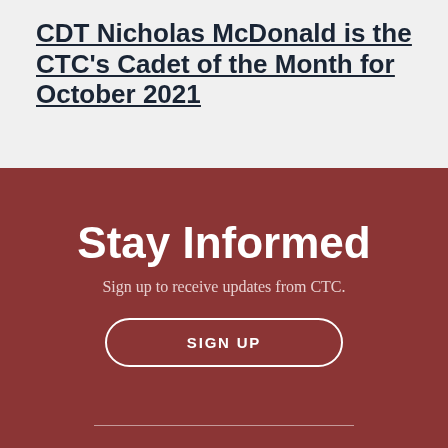CDT Nicholas McDonald is the CTC's Cadet of the Month for October 2021
Stay Informed
Sign up to receive updates from CTC.
SIGN UP